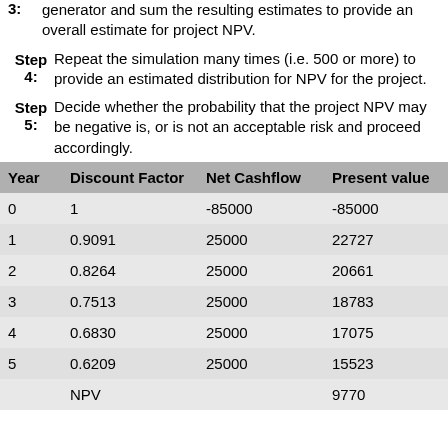3. generator and sum the resulting estimates to provide an overall estimate for project NPV.
Step 4: Repeat the simulation many times (i.e. 500 or more) to provide an estimated distribution for NPV for the project.
Step 5: Decide whether the probability that the project NPV may be negative is, or is not an acceptable risk and proceed accordingly.
| Year | Discount Factor | Net Cashflow | Present value |
| --- | --- | --- | --- |
| 0 | 1 | -85000 | -85000 |
| 1 | 0.9091 | 25000 | 22727 |
| 2 | 0.8264 | 25000 | 20661 |
| 3 | 0.7513 | 25000 | 18783 |
| 4 | 0.6830 | 25000 | 17075 |
| 5 | 0.6209 | 25000 | 15523 |
|  | NPV |  | 9770 |